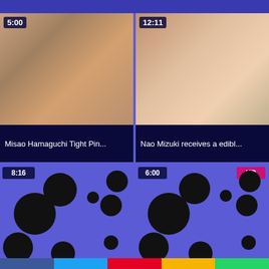[Figure (screenshot): Video thumbnail left: woman with black hair, duration badge 5:00]
Misao Hamaguchi Tight Pin...
[Figure (screenshot): Video thumbnail right: woman with black hair, duration badge 12:11]
Nao Mizuki receives a edibl...
[Figure (illustration): Blue panel with black polka dots, duration badge 8:16]
[Figure (illustration): Blue panel with black polka dots, duration badge 6:00, HD badge]